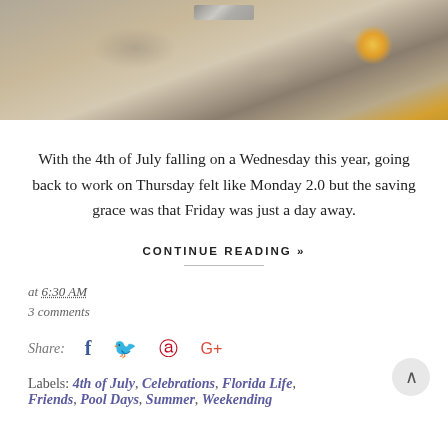[Figure (photo): Photo of a granite/stone countertop surface with warm tones of beige and gray, with a bright glowing light source visible at upper right, and what appears to be a small framed item partially visible at top]
With the 4th of July falling on a Wednesday this year, going back to work on Thursday felt like Monday 2.0 but the saving grace was that Friday was just a day away.
CONTINUE READING »
at 6:30 AM
3 comments
Share:
Labels: 4th of July, Celebrations, Florida Life, Friends, Pool Days, Summer, Weekending